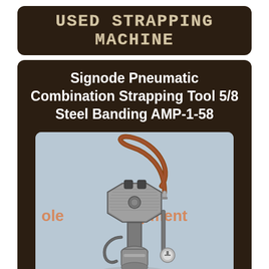Used Strapping Machine
Signode Pneumatic Combination Strapping Tool 5/8 Steel Banding AMP-1-58
[Figure (photo): Photograph of a Signode pneumatic combination strapping tool AMP-1-58, showing a metal industrial strapping device with a pneumatic hose, hexagonal body, and mechanical components, displayed against a light blue background with partial watermark text.]